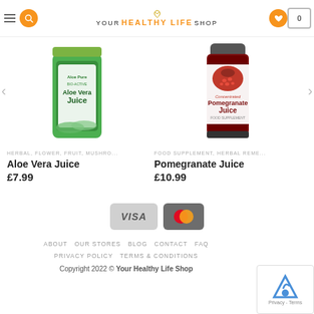[Figure (screenshot): E-commerce website header with logo 'Your Healthy Life Shop', search and navigation icons]
[Figure (photo): Aloe Vera Juice product bottle - green label]
HERBAL, FLOWER, FRUIT, MUSHRO...
Aloe Vera Juice
£7.99
[Figure (photo): Concentrated Pomegranate Juice product bottle - dark red]
FOOD SUPPLEMENT, HERBAL REME...
Pomegranate Juice
£10.99
[Figure (logo): VISA and MasterCard payment logos]
ABOUT   OUR STORES   BLOG   CONTACT   FAQ   PRIVACY POLICY   TERMS & CONDITIONS
Copyright 2022 © Your Healthy Life Shop